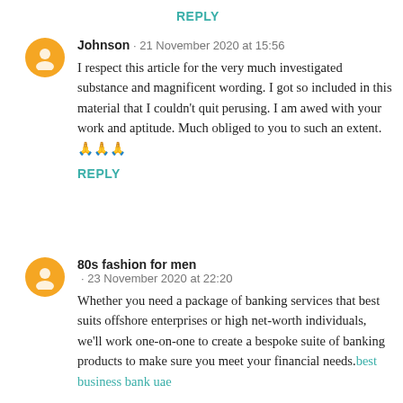REPLY
Johnson · 21 November 2020 at 15:56
I respect this article for the very much investigated substance and magnificent wording. I got so included in this material that I couldn't quit perusing. I am awed with your work and aptitude. Much obliged to you to such an extent.🙏🙏🙏
REPLY
80s fashion for men · 23 November 2020 at 22:20
Whether you need a package of banking services that best suits offshore enterprises or high net-worth individuals, we'll work one-on-one to create a bespoke suite of banking products to make sure you meet your financial needs. best business bank uae